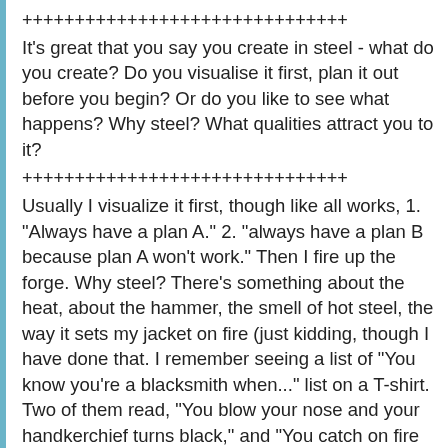+++++++++++++++++++++++++++++++
It's great that you say you create in steel - what do you create? Do you visualise it first, plan it out before you begin? Or do you like to see what happens? Why steel? What qualities attract you to it?
+++++++++++++++++++++++++++++++
Usually I visualize it first, though like all works, 1. "Always have a plan A." 2. "always have a plan B because plan A won't work." Then I fire up the forge. Why steel? There's something about the heat, about the hammer, the smell of hot steel, the way it sets my jacket on fire (just kidding, though I have done that. I remember seeing a list of "You know you're a blacksmith when..." list on a T-shirt. Two of them read, "You blow your nose and your handkerchief turns black," and "You catch on fire and it's no big deal." I've slapped the flames out on my jacket and kept on working), the fact that I can